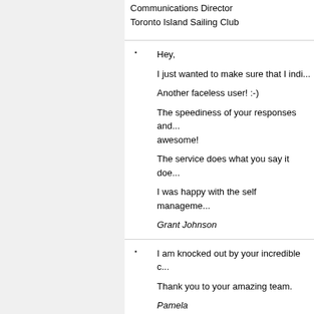Communications Director
Toronto Island Sailing Club
Hey,

I just wanted to make sure that I indi...

Another faceless user! :-)

The speediness of your responses and... awesome!

The service does what you say it doe...

I was happy with the self manageme...

Grant Johnson
I am knocked out by your incredible c...

Thank you to your amazing team.

Pamela
rukkushouse.com
As a Customer Service consultant, I u... service." Without a doubt, Namespro... name. Within a week, thanks to the e... names, and am in the process of sett...